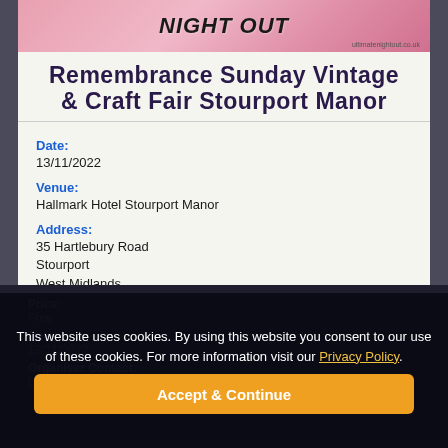[Figure (illustration): Pink banner with 'NIGHT OUT' text in bold black italic, logo/website text at bottom right]
Remembrance Sunday Vintage & Craft Fair Stourport Manor
Date:
13/11/2022
Venue:
Hallmark Hotel Stourport Manor
Address:
35 Hartlebury Road
Stourport
West Midlands
DY13 9JA
This website uses cookies. By using this website you consent to our use of these cookies. For more information visit our Privacy Policy.
Accept & Continue